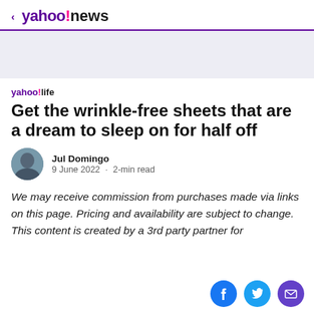< yahoo!news
[Figure (other): Advertisement banner placeholder — light grey/lavender background strip]
yahoo!life
Get the wrinkle-free sheets that are a dream to sleep on for half off
Jul Domingo · 9 June 2022 · 2-min read
We may receive commission from purchases made via links on this page. Pricing and availability are subject to change. This content is created by a 3rd party partner for